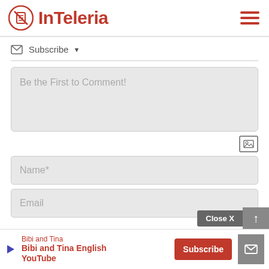[Figure (logo): InTeleria logo with red circle containing a crossed pencil/pen icon, followed by bold red text 'InTeleria', and a red hamburger menu icon on the right]
✉ Subscribe ▼
Be the First to Comment!
Name*
Email
Close X
Bibi and Tina
Bibi and Tina English YouTube
Subscribe